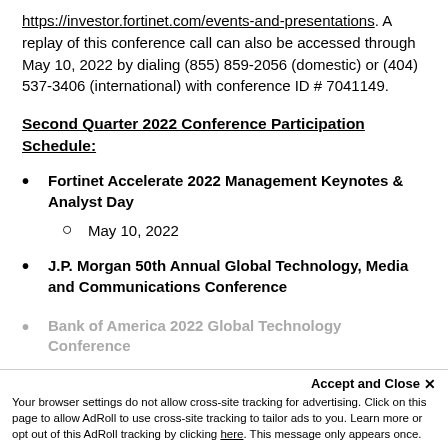https://investor.fortinet.com/events-and-presentations. A replay of this conference call can also be accessed through May 10, 2022 by dialing (855) 859-2056 (domestic) or (404) 537-3406 (international) with conference ID # 7041149.
Second Quarter 2022 Conference Participation Schedule:
Fortinet Accelerate 2022 Management Keynotes & Analyst Day
May 10, 2022
J.P. Morgan 50th Annual Global Technology, Media and Communications Conference
Accept and Close ×
Your browser settings do not allow cross-site tracking for advertising. Click on this page to allow AdRoll to use cross-site tracking to tailor ads to you. Learn more or opt out of this AdRoll tracking by clicking here. This message only appears once.
Bank of America 2022 Global Technology Conference